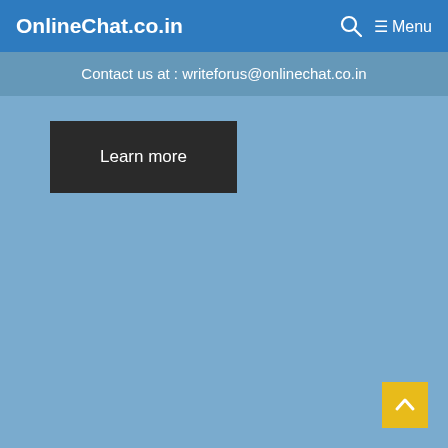OnlineChat.co.in  🔍  ≡ Menu
Contact us at : writeforus@onlinechat.co.in
Learn more
[Figure (other): Yellow scroll-to-top button with upward chevron arrow in bottom right corner]